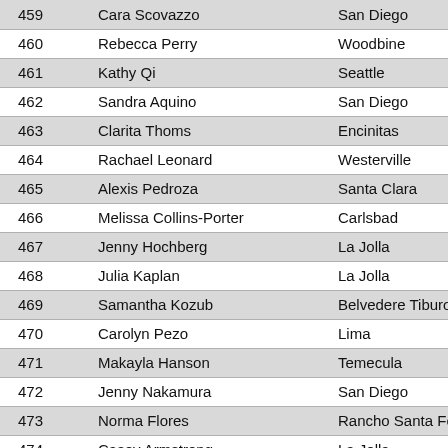| # | Name | City |
| --- | --- | --- |
| 459 | Cara Scovazzo | San Diego |
| 460 | Rebecca Perry | Woodbine |
| 461 | Kathy Qi | Seattle |
| 462 | Sandra Aquino | San Diego |
| 463 | Clarita Thoms | Encinitas |
| 464 | Rachael Leonard | Westerville |
| 465 | Alexis Pedroza | Santa Clara |
| 466 | Melissa Collins-Porter | Carlsbad |
| 467 | Jenny Hochberg | La Jolla |
| 468 | Julia Kaplan | La Jolla |
| 469 | Samantha Kozub | Belvedere Tiburon |
| 470 | Carolyn Pezo | Lima |
| 471 | Makayla Hanson | Temecula |
| 472 | Jenny Nakamura | San Diego |
| 473 | Norma Flores | Rancho Santa Fe |
| 474 | Casey Armstrong | La Jolla |